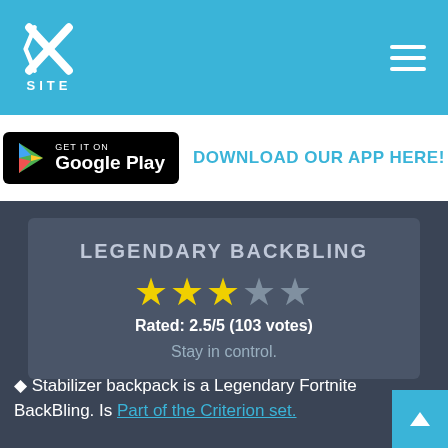XSITE - navigation header with logo and hamburger menu
[Figure (logo): XSITE logo with X icon and SITE text on blue background]
DOWNLOAD OUR APP HERE!
[Figure (other): Google Play Store download badge]
LEGENDARY BACKBLING
Rated: 2.5/5 (103 votes)
Stay in control.
★ Stabilizer backpack is a Legendary Fortnite BackBling. Is Part of the Criterion set.